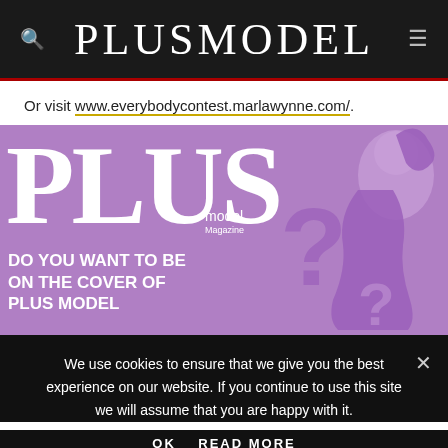PLUS MODEL
Or visit www.everybodycontest.marlawynne.com/.
[Figure (illustration): Plus Model Magazine promotional image with purple background, large white 'PLUS' text, 'model Magazine' subtitle, tagline 'DO YOU WANT TO BE ON THE COVER OF PLUS MODEL' in white bold text, and a purple silhouette of a curvy woman with question marks.]
We use cookies to ensure that we give you the best experience on our website. If you continue to use this site we will assume that you are happy with it.
OK   READ MORE